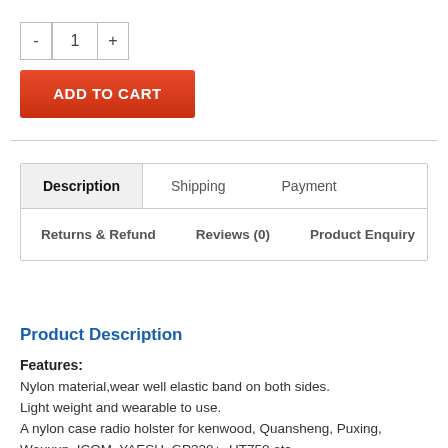- 1 +
ADD TO CART
Description   Shipping   Payment   Returns & Refund   Reviews (0)   Product Enquiry
Product Description
Features:
Nylon material,wear well elastic band on both sides.
Light weight and wearable to use.
A nylon case radio holster for kenwood, Quansheng, Puxing, Wouxun, ICOM, YAESU, GP328+, HT750 etc
It leaves your hands free, safe and convenient.
Suit for police, fireman, security guard, first-aid personnel and